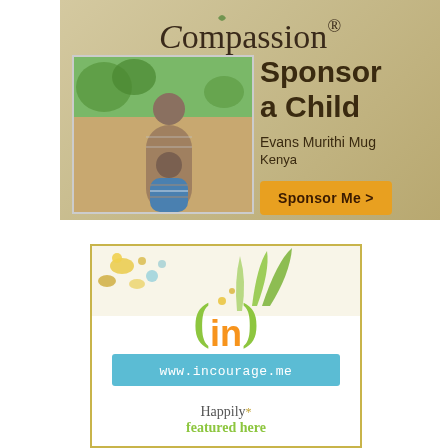[Figure (infographic): Compassion charity advertisement showing 'Sponsor a Child' with photo of woman and child, child name Evans Murithi Mug, Kenya, with 'Sponsor Me >' button]
[Figure (infographic): (in)courage advertisement with logo, www.incourage.me URL, and 'Happily featured here' text on white background with gold border]